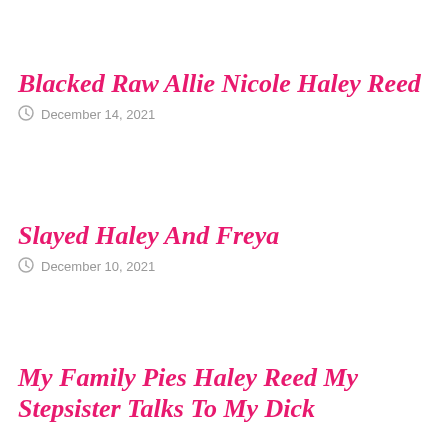Blacked Raw Allie Nicole Haley Reed
December 14, 2021
Slayed Haley And Freya
December 10, 2021
My Family Pies Haley Reed My Stepsister Talks To My Dick